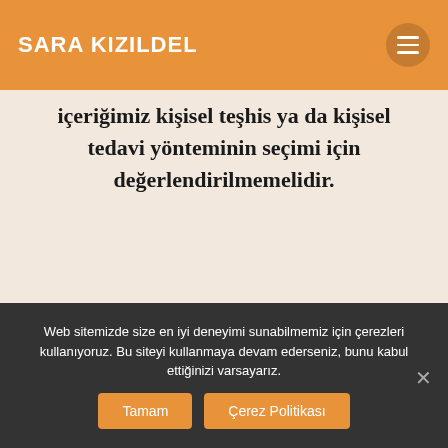SARA KIZILDEL
içeriğimiz kişisel teşhis ya da kişisel tedavi yönteminin seçimi için değerlendirilmemelidir.
[Figure (other): Social media icons: Facebook, YouTube, Instagram, Spotify in circular outlines]
Web sitemizde size en iyi deneyimi sunabilmemiz için çerezleri kullanıyoruz. Bu siteyi kullanmaya devam ederseniz, bunu kabul ettiğinizi varsayarız.